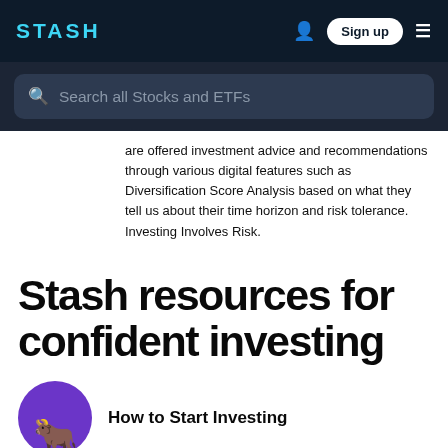STASH — Sign up
[Figure (screenshot): Search bar with placeholder text: Search all Stocks and ETFs]
are offered investment advice and recommendations through various digital features such as Diversification Score Analysis based on what they tell us about their time horizon and risk tolerance. Investing Involves Risk.
Stash resources for confident investing
How to Start Investing